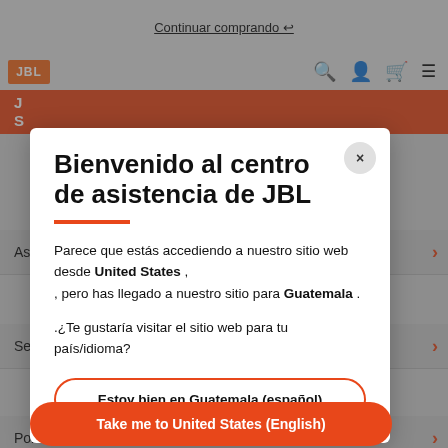[Figure (screenshot): JBL website background showing navigation bar with 'Continuar comprando' link, search icon, user icon, cart icon, menu icon, JBL logo, orange banner, and list items for Asistencia, Servicio, and Politica with orange arrows.]
Bienvenido al centro de asistencia de JBL
Parece que estás accediendo a nuestro sitio web desde United States , , pero has llegado a nuestro sitio para Guatemala .
¿Te gustaría visitar el sitio web para tu país/idioma?
Estoy bien en Guatemala (español)
Take me to United States (English)